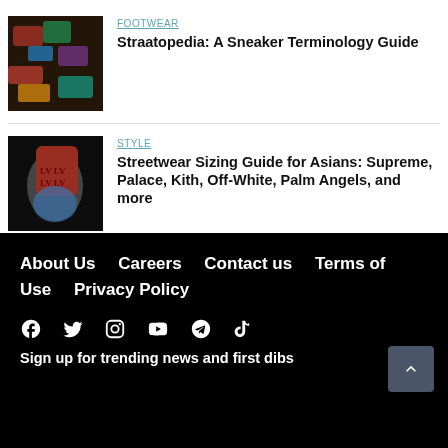[Figure (photo): Thumbnail image of sneakers/footwear on display]
FOOTWEAR
Straatopedia: A Sneaker Terminology Guide
[Figure (photo): Thumbnail image of streetwear clothing featuring red Louis Vuitton bag]
STYLE
Streetwear Sizing Guide for Asians: Supreme, Palace, Kith, Off-White, Palm Angels, and more
About Us  Careers  Contact us  Terms of Use  Privacy Policy
[Social icons: Facebook, Twitter, Instagram, YouTube, Telegram, TikTok]
Sign up for trending news and first dibs